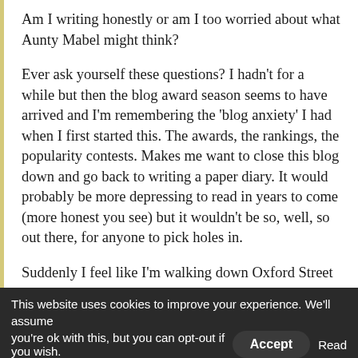Am I writing honestly or am I too worried about what Aunty Mabel might think?
Ever ask yourself these questions? I hadn't for a while but then the blog award season seems to have arrived and I'm remembering the 'blog anxiety' I had when I first started this. The awards, the rankings, the popularity contests. Makes me want to close this blog down and go back to writing a paper diary. It would probably be more depressing to read in years to come (more honest you see) but it wouldn't be so, well, so out there, for anyone to pick holes in.
Suddenly I feel like I'm walking down Oxford Street
This website uses cookies to improve your experience. We'll assume you're ok with this, but you can opt-out if you wish. [Accept] Read More